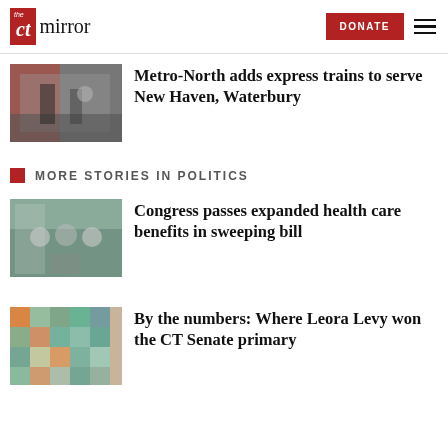the CT mirror | DONATE
[Figure (photo): People boarding or exiting a Metro-North commuter train at a platform]
Metro-North adds express trains to serve New Haven, Waterbury
MORE STORIES IN POLITICS
[Figure (photo): Three men standing at an outdoor press conference podium]
Congress passes expanded health care benefits in sweeping bill
[Figure (photo): Abstract teal and orange mosaic pattern map]
By the numbers: Where Leora Levy won the CT Senate primary